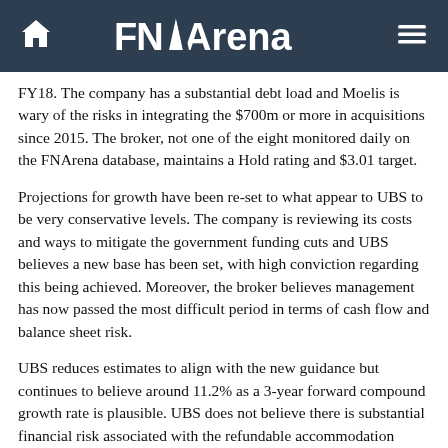FNArena
FY18. The company has a substantial debt load and Moelis is wary of the risks in integrating the $700m or more in acquisitions since 2015. The broker, not one of the eight monitored daily on the FNArena database, maintains a Hold rating and $3.01 target.
Projections for growth have been re-set to what appear to UBS to be very conservative levels. The company is reviewing its costs and ways to mitigate the government funding cuts and UBS believes a new base has been set, with high conviction regarding this being achieved. Moreover, the broker believes management has now passed the most difficult period in terms of cash flow and balance sheet risk.
UBS reduces estimates to align with the new guidance but continues to believe around 11.2% as a 3-year forward compound growth rate is plausible. UBS does not believe there is substantial financial risk associated with the refundable accommodation deposits (RAD) as, while government changes to the framework in July 2014 caused some movement in resident preference, subsequently the mix has settled. The broker had to shift in resident preference for some will be revisited.